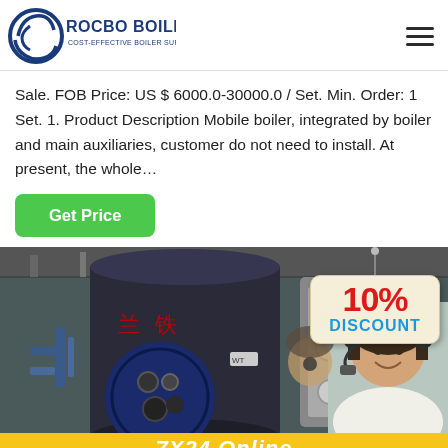[Figure (logo): Rocbo Boiler logo - circular blue icon with 'ROCBO BOILER' text and 'COST-EFFECTIVE BOILER SUPPLIER' tagline]
Sale. FOB Price: US $ 6000.0-30000.0 / Set. Min. Order: 1 Set. 1. Product Description Mobile boiler, integrated by boiler and main auxiliaries, customer do not need to install. At present, the whole…
[Figure (illustration): Green 'Get Price' button]
[Figure (photo): Industrial boiler in factory setting with a 10% DISCOUNT badge overlay and a customer service representative with headset on right side. Bottom shows '7X24 Online' text on yellow background.]